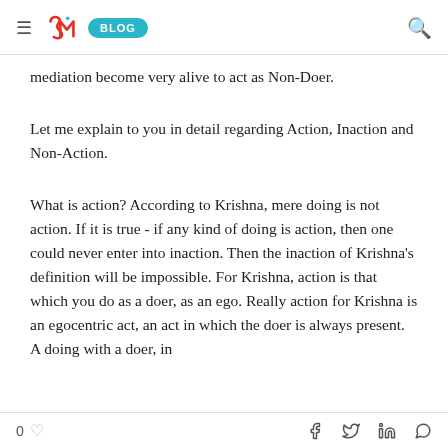≡ SMI BLOG 🔍
mediation become very alive to act as Non-Doer.
Let me explain to you in detail regarding Action, Inaction and Non-Action.
What is action? According to Krishna, mere doing is not action. If it is true - if any kind of doing is action, then one could never enter into inaction. Then the inaction of Krishna's definition will be impossible. For Krishna, action is that which you do as a doer, as an ego. Really action for Krishna is an egocentric act, an act in which the doer is always present. A doing with a doer, in
0 ♡  f  𝕏  in  WhatsApp